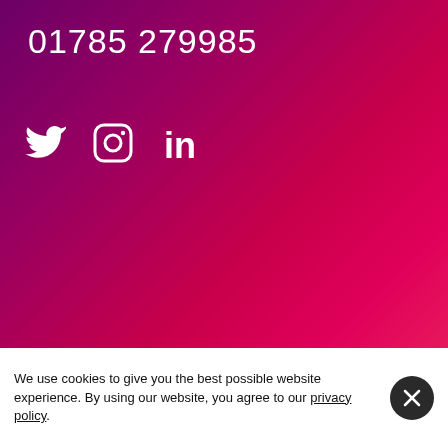[Figure (illustration): Gradient background section with purple to pink/red gradient]
01785 279985
[Figure (illustration): Social media icons: Twitter (bird), Instagram (camera), LinkedIn (in) in white on gradient background]
MARKETING
eCommerce digital marketing
Search engine optimisation
Paid search
We use cookies to give you the best possible website experience. By using our website, you agree to our privacy policy.